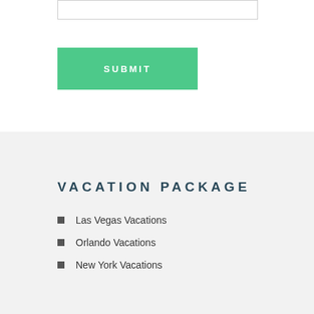[Figure (other): Input text box (form field)]
SUBMIT
VACATION PACKAGE
Las Vegas Vacations
Orlando Vacations
New York Vacations